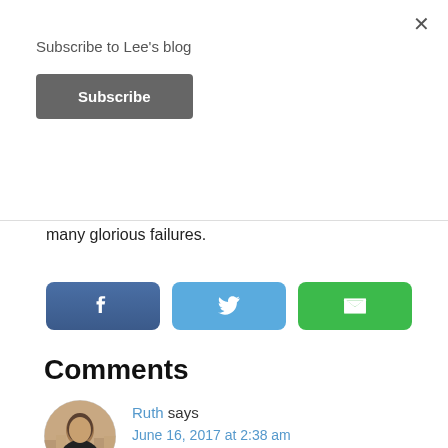Subscribe to Lee's blog
Subscribe
×
many glorious failures.
[Figure (other): Three social share buttons: Facebook (dark blue-gray with 'f' icon), Twitter (light blue with bird icon), Email (green with envelope icon)]
Comments
Ruth says
June 16, 2017 at 2:38 am